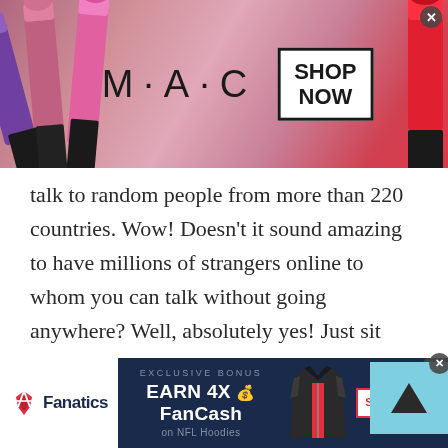[Figure (photo): MAC cosmetics advertisement banner showing lipsticks and SHOP NOW call to action]
talk to random people from more than 220 countries. Wow! Doesn't it sound amazing to have millions of strangers online to whom you can talk without going anywhere? Well, absolutely yes! Just sit back, open the TWS chat app, choose a nickname, tap international chat and you will find thousands or millions of users online.
Joining TWS international chat rooms will do wonders for you. You can not only learn new things
[Figure (screenshot): Fanatics advertisement banner: EXCLUSIVE BONUS EARN 4X FanCash on NFL Hoodies with SHOP NOW button]